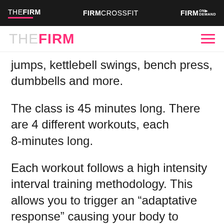THE FIRM | FIRMCROSSFIT | FIRM ON DEMAND
[Figure (logo): THE FIRM logo in pink with hamburger menu icon]
jumps, kettlebell swings, bench press, dumbbells and more.
The class is 45 minutes long. There are 4 different workouts, each 8-minutes long.
Each workout follows a high intensity interval training methodology. This allows you to trigger an “adaptative response” causing your body to increase muscle and use fat for fuel;